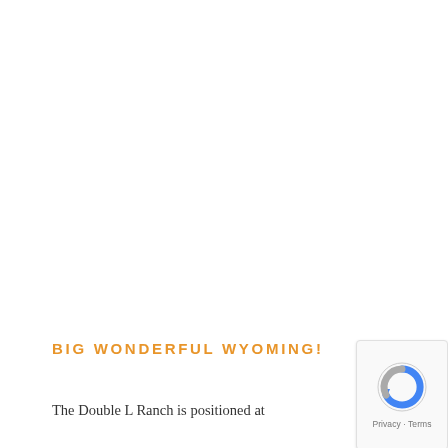BIG WONDERFUL WYOMING!
The Double L Ranch is positioned at